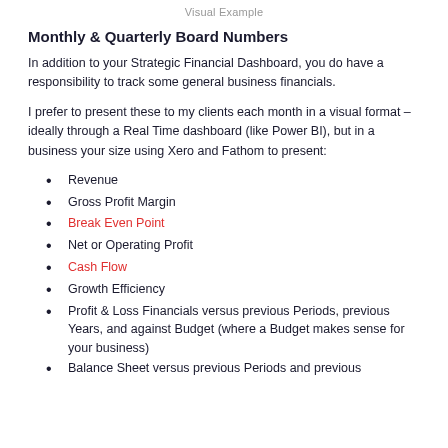Visual Example
Monthly & Quarterly Board Numbers
In addition to your Strategic Financial Dashboard, you do have a responsibility to track some general business financials.
I prefer to present these to my clients each month in a visual format – ideally through a Real Time dashboard (like Power BI), but in a business your size using Xero and Fathom to present:
Revenue
Gross Profit Margin
Break Even Point
Net or Operating Profit
Cash Flow
Growth Efficiency
Profit & Loss Financials versus previous Periods, previous Years, and against Budget (where a Budget makes sense for your business)
Balance Sheet versus previous Periods and previous